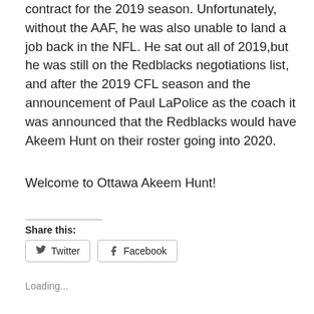contract for the 2019 season. Unfortunately, without the AAF, he was also unable to land a job back in the NFL. He sat out all of 2019,but he was still on the Redblacks negotiations list, and after the 2019 CFL season and the announcement of Paul LaPolice as the coach it was announced that the Redblacks would have Akeem Hunt on their roster going into 2020.
Welcome to Ottawa Akeem Hunt!
Share this:
Twitter
Facebook
Loading...